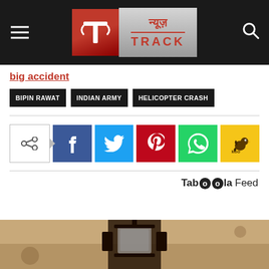News Track (न्यूज़ Track) - Navigation header with logo, hamburger menu, and search icon
big accident
BIPIN RAWAT
INDIAN ARMY
HELICOPTER CRASH
[Figure (infographic): Social share buttons row: share icon box with arrow, Facebook (blue), Twitter (cyan), Pinterest (red), WhatsApp (green), Koo (yellow with bird icon)]
Taboola Feed
[Figure (photo): Partial bottom image showing what appears to be a dark lantern or lamp against a textured beige/tan wall background]